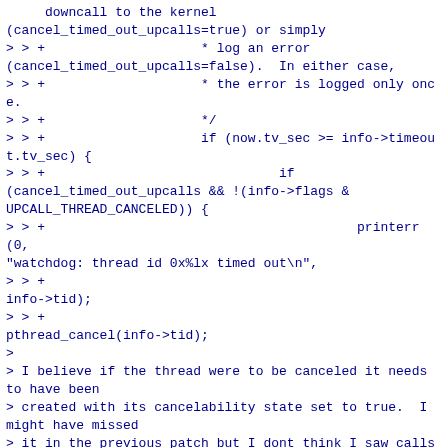(cancel_timed_out_upcalls=true) or simply
> > +                    * log an error
(cancel_timed_out_upcalls=false).  In either case,
> > +                    * the error is logged only once.
> > +                    */
> > +                    if (now.tv_sec >= info->timeout.tv_sec) {
> > +                              if
(cancel_timed_out_upcalls && !(info->flags &
UPCALL_THREAD_CANCELED)) {
> > +                                        printerr(0,
"watchdog: thread id 0x%lx timed out\n",
> > +
info->tid);
> > +
pthread_cancel(info->tid);
>
> I believe if the thread were to be canceled it needs to have been
> created with its cancelability state set to true.  I might have missed
> it in the previous patch but I dont think I saw calls to
> pthread_setcancelstate().

The default cancelability state is already
PTHREAD_CANCEL_ENABLE.  If
you look at process_krb5_upcall(), that's where I'm
disabling and